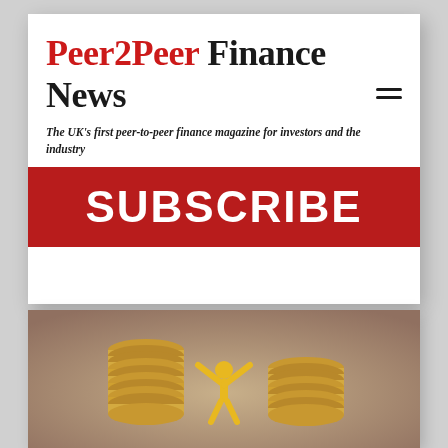Peer2Peer Finance News
The UK's first peer-to-peer finance magazine for investors and the industry
[Figure (other): Red banner with white bold text reading SUBSCRIBE]
[Figure (photo): Photo of gold coin stacks with a small yellow figurine standing between them with arms raised, against a blurred background]